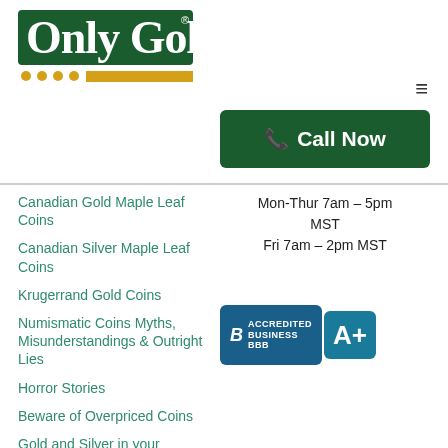[Figure (logo): Only Gold company logo with green text and gold/yellow accent elements]
[Figure (other): Hamburger menu icon (three horizontal lines)]
[Figure (other): Call Now button with phone icon, dark green background]
Canadian Gold Maple Leaf Coins
Mon-Thur 7am – 5pm MST
Canadian Silver Maple Leaf Coins
Fri 7am – 2pm MST
Krugerrand Gold Coins
Numismatic Coins Myths, Misunderstandings & Outright Lies
[Figure (logo): BBB Accredited Business A+ badge]
Horror Stories
Beware of Overpriced Coins
Gold and Silver in your